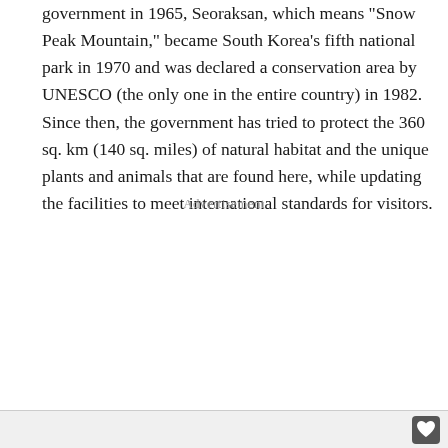government in 1965, Seoraksan, which means "Snow Peak Mountain," became South Korea's fifth national park in 1970 and was declared a conservation area by UNESCO (the only one in the entire country) in 1982. Since then, the government has tried to protect the 360 sq. km (140 sq. miles) of natural habitat and the unique plants and animals that are found here, while updating the facilities to meet international standards for visitors.
Advertisement